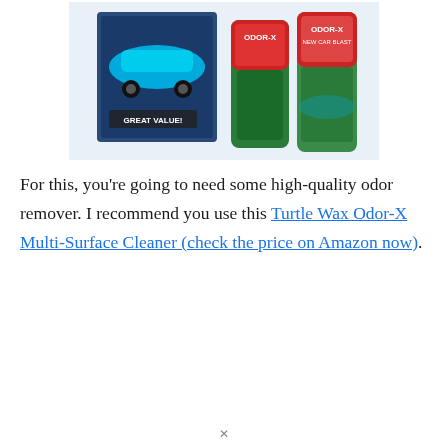[Figure (photo): Product photo showing Turtle Wax Odor-X car care kit box and two Odor-X spray cans against a blue sports car background]
For this, you're going to need some high-quality odor remover. I recommend you use this Turtle Wax Odor-X Multi-Surface Cleaner (check the price on Amazon now).